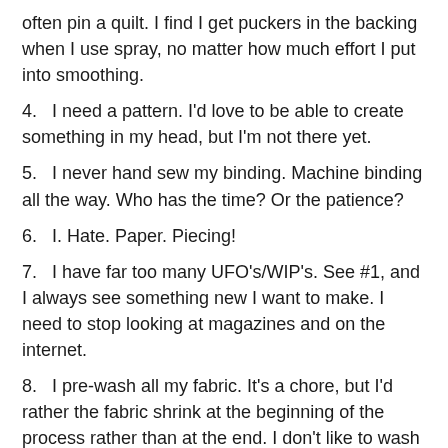often pin a quilt.  I find I get puckers in the backing when I use spray, no matter how much effort I put into smoothing.
4.   I need a pattern.  I'd love to be able to create something in my head, but I'm not there yet.
5.   I never hand sew my binding.  Machine binding all the way.  Who has the time?  Or the patience?
6.   I. Hate. Paper. Piecing!
7.   I have far too many UFO's/WIP's.  See #1, and I always see something new I want to make.  I need to stop looking at magazines and on the internet.
8.   I pre-wash all my fabric.  It's a chore, but I'd rather the fabric shrink at the beginning of the process rather than at the end.  I don't like to wash a finished quilt -- I like the crisp look.  The crinkled look makes it feel used.
9.   I forget to change the needle in my machine.  Thank goodness I break needles from running over pins (see #2).